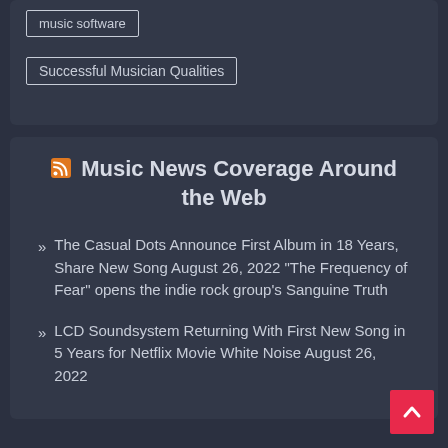music software
Successful Musician Qualities
Music News Coverage Around the Web
» The Casual Dots Announce First Album in 18 Years, Share New Song August 26, 2022 "The Frequency of Fear" opens the indie rock group's Sanguine Truth
» LCD Soundsystem Returning With First New Song in 5 Years for Netflix Movie White Noise August 26, 2022